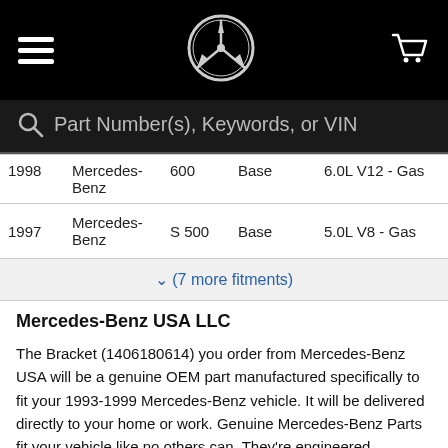Mercedes-Benz navigation bar with logo and cart
Part Number(s), Keywords, or VIN
| Year | Make | Model | Submodel | Engine |
| --- | --- | --- | --- | --- |
| 1998 | Mercedes-Benz | 600 | Base | 6.0L V12 - Gas |
| 1997 | Mercedes-Benz | S 500 | Base | 5.0L V8 - Gas |
↓ (7 more fitments)
Mercedes-Benz USA LLC
The Bracket (1406180614) you order from Mercedes-Benz USA will be a genuine OEM part manufactured specifically to fit your 1993-1999 Mercedes-Benz vehicle. It will be delivered directly to your home or work. Genuine Mercedes-Benz Parts fit your vehicle like no others can. They're engineered specifically to function with their fellow parts and systems, and they're constructed from the finest materials available. They're also subjected to rigorous testing, which means each part comes fully certified. In the end, you can be sure that your vehicle will perform up to its potential, mile after mile.